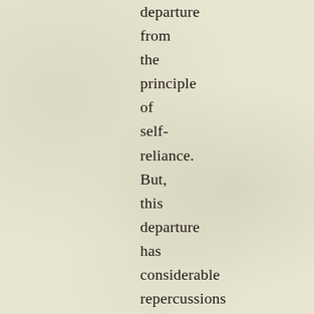departure from the principle of self-reliance. But, this departure has considerable repercussions at the economic level (unemployment, poverty, economic crises in market